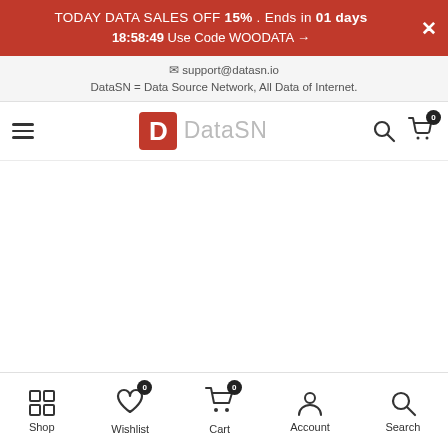TODAY DATA SALES OFF 15% . Ends in 01 days 18:58:49 Use Code WOODATA →
✉ support@datasn.io
DataSN = Data Source Network, All Data of Internet.
[Figure (logo): DataSN logo with red D icon and gray DataSN text, hamburger menu icon on left, search and cart icons on right]
Shop | Wishlist 0 | Cart 0 | Account | Search